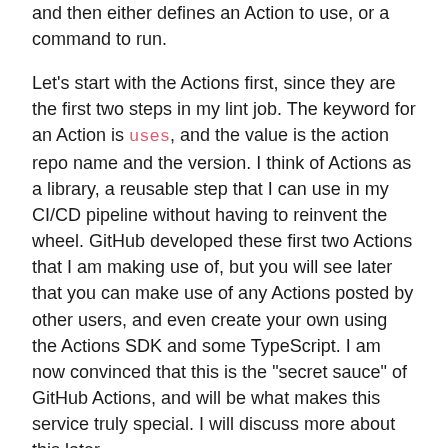and then either defines an Action to use, or a command to run.
Let's start with the Actions first, since they are the first two steps in my lint job. The keyword for an Action is uses, and the value is the action repo name and the version. I think of Actions as a library, a reusable step that I can use in my CI/CD pipeline without having to reinvent the wheel. GitHub developed these first two Actions that I am making use of, but you will see later that you can make use of any Actions posted by other users, and even create your own using the Actions SDK and some TypeScript. I am now convinced that this is the "secret sauce" of GitHub Actions, and will be what makes this service truly special. I will discuss more about this later.
The first two Actions I am using clones a copy of the code I am testing from my repo, and sets up Python. Actions often use the with keyword for the configuration options,